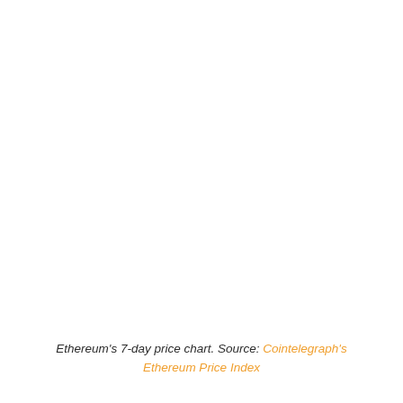Ethereum's 7-day price chart. Source: Cointelegraph's Ethereum Price Index